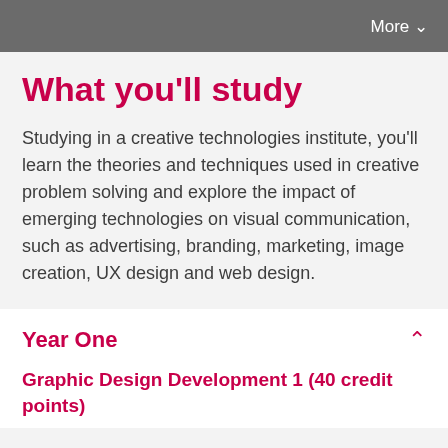More ∨
What you'll study
Studying in a creative technologies institute, you'll learn the theories and techniques used in creative problem solving and explore the impact of emerging technologies on visual communication, such as advertising, branding, marketing, image creation, UX design and web design.
Year One
Graphic Design Development 1 (40 credit points)